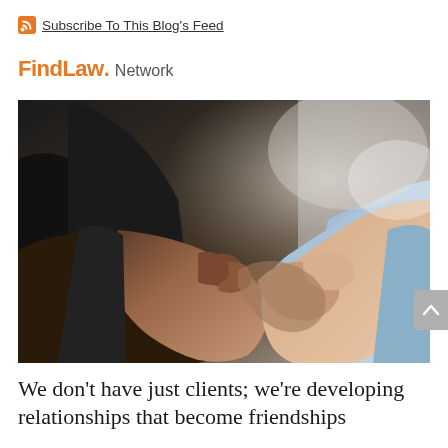Subscribe To This Blog's Feed
FindLaw. Network
[Figure (photo): Close-up photograph of two people shaking hands. One person is wearing a dark suit jacket; the other is wearing a light blue shirt. The handshake is in sharp focus against a blurred background.]
We don’t have just clients; we’re developing relationships that become friendships